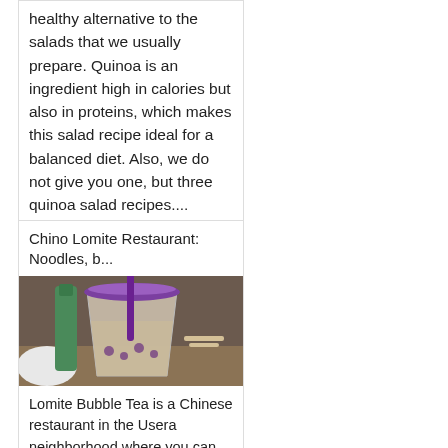healthy alternative to the salads that we usually prepare. Quinoa is an ingredient high in calories but also in proteins, which makes this salad recipe ideal for a balanced diet. Also, we do not give you one, but three quinoa salad recipes....
Chino Lomite Restaurant: Noodles, b...
[Figure (photo): Photo of a bubble tea drink in a clear plastic cup with a purple lid and straw, sitting on a table in a Chinese restaurant]
Lomite Bubble Tea is a Chinese restaurant in the Usera neighborhood where you can eat noodles, barbecued